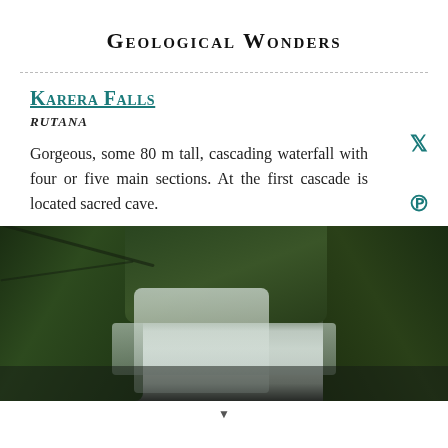Geological Wonders
Karera Falls
RUTANA
Gorgeous, some 80 m tall, cascading waterfall with four or five main sections. At the first cascade is located sacred cave.
[Figure (photo): Photo of Karera Falls showing a cascading waterfall surrounded by dense green forest and trees, with white water visible flowing down the rocks.]
▼